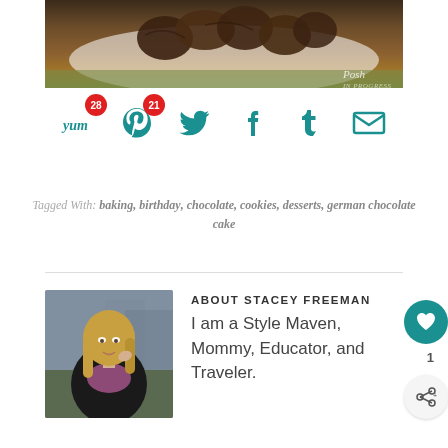[Figure (photo): Food photo showing chocolate cookies on a white plate with green background, Posh In Progress watermark]
[Figure (infographic): Social sharing icons row: Yum (28), Pinterest (21), Twitter, Facebook, Tumblr, Email — all in teal color]
Tagged With: baking, birthday, chocolate, cookies, desserts, german chocolate cake
[Figure (photo): Portrait photo of Stacey Freeman, blonde woman in black jacket and floral top]
ABOUT STACEY FREEMAN
I am a Style Maven, Mommy, Educator, and Traveler.